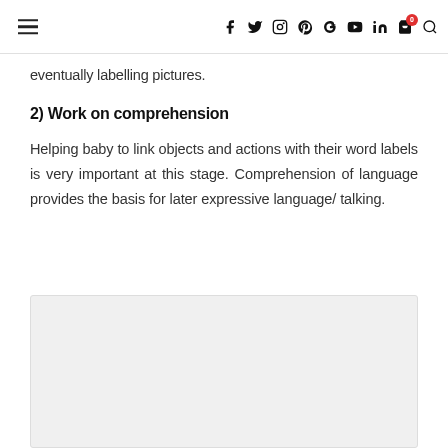≡  f  twitter  instagram  pinterest  G+  youtube  in  cart(0)  search
eventually labelling pictures.
2) Work on comprehension
Helping baby to link objects and actions with their word labels is very important at this stage. Comprehension of language provides the basis for later expressive language/ talking.
[Figure (photo): Light gray placeholder image block]